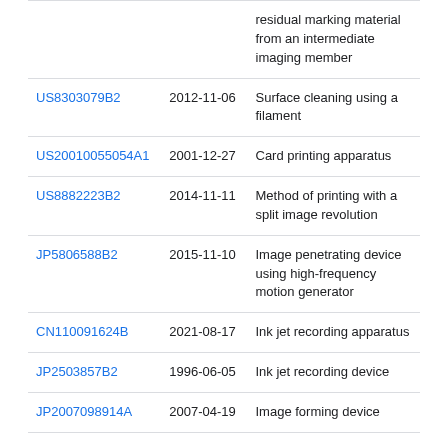| Patent | Date | Title |
| --- | --- | --- |
|  |  | residual marking material from an intermediate imaging member |
| US8303079B2 | 2012-11-06 | Surface cleaning using a filament |
| US20010055054A1 | 2001-12-27 | Card printing apparatus |
| US8882223B2 | 2014-11-11 | Method of printing with a split image revolution |
| JP5806588B2 | 2015-11-10 | Image penetrating device using high-frequency motion generator |
| CN110091624B | 2021-08-17 | Ink jet recording apparatus |
| JP2503857B2 | 1996-06-05 | Ink jet recording device |
| JP2007098914A | 2007-04-19 | Image forming device |
Priority And Related Applications